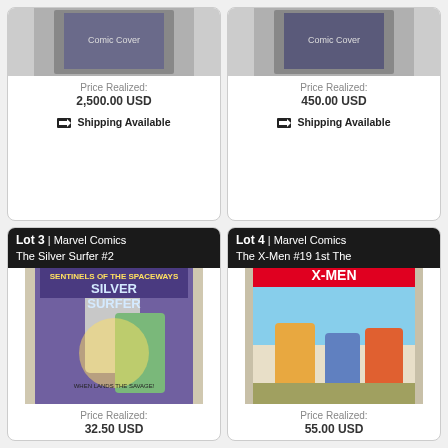[Figure (photo): Top-left comic book cover partially visible]
Price Realized:
2,500.00 USD
🚚 Shipping Available
[Figure (photo): Top-right comic book cover partially visible]
Price Realized:
450.00 USD
🚚 Shipping Available
Lot 3 | Marvel Comics The Silver Surfer #2
[Figure (photo): The Silver Surfer #2 comic book cover showing Silver Surfer and Hulk]
Price Realized:
32.50 USD
Lot 4 | Marvel Comics The X-Men #19 1st The
[Figure (photo): X-Men #19 comic book cover showing X-Men characters]
Price Realized:
55.00 USD